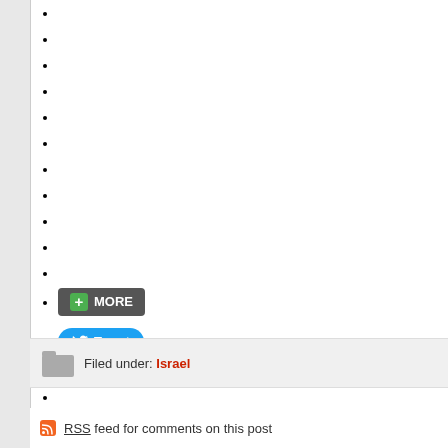[Figure (other): A dark gray button with green plus icon labeled MORE and a blue Twitter Tweet button]
Filed under: Israel
RSS feed for comments on this post